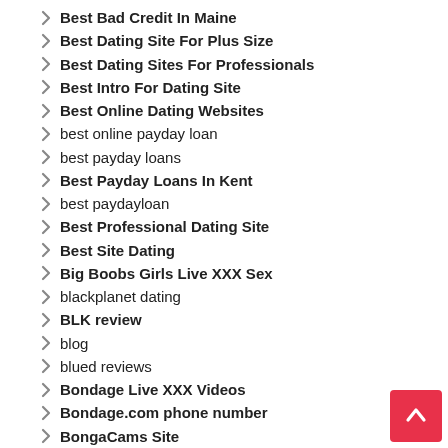Best Bad Credit In Maine
Best Dating Site For Plus Size
Best Dating Sites For Professionals
Best Intro For Dating Site
Best Online Dating Websites
best online payday loan
best payday loans
Best Payday Loans In Kent
best paydayloan
Best Professional Dating Site
Best Site Dating
Big Boobs Girls Live XXX Sex
blackplanet dating
BLK review
blog
blued reviews
Bondage Live XXX Videos
Bondage.com phone number
BongaCams Site